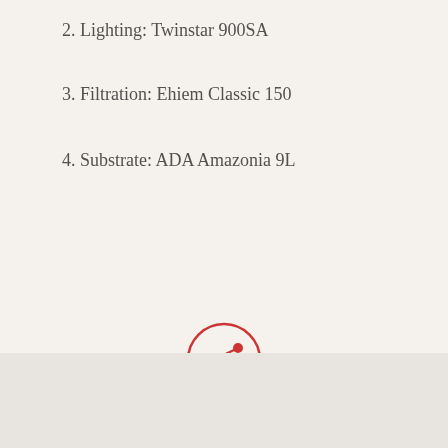2. Lighting: Twinstar 900SA
3. Filtration: Ehiem Classic 150
4. Substrate: ADA Amazonia 9L
[Figure (illustration): A red circular share button icon with a share/network symbol inside, with the word SHARE below in red uppercase letters]
[Figure (photo): Bottom portion of the page showing a partially visible image with light grey tones]